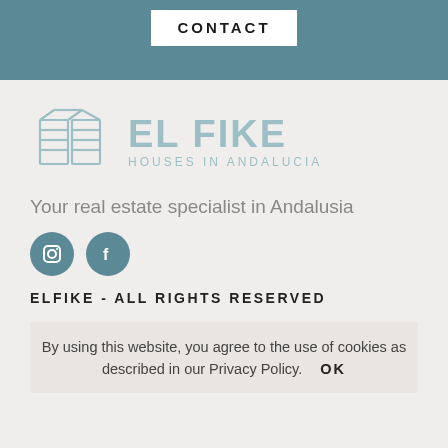CONTACT
[Figure (logo): El Fike logo: stylized cube/shelves icon in outline style, grey-green color, with text EL FIKE and HOUSES IN ANDALUCIA]
Your real estate specialist in Andalusia
[Figure (other): Social media icons: Instagram and Facebook circles in teal/blue-green color]
ELFIKE - ALL RIGHTS RESERVED
By using this website, you agree to the use of cookies as described in our Privacy Policy.  OK